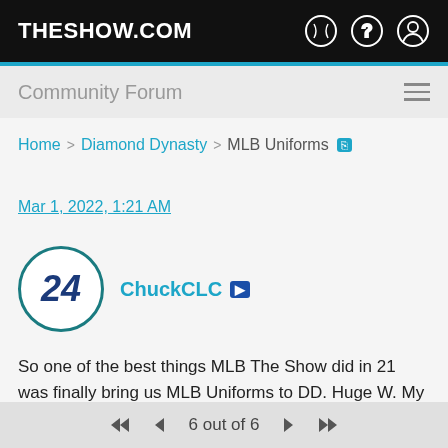THESHOW.COM
Community Forum
Home > Diamond Dynasty > MLB Uniforms
Mar 1, 2022, 1:21 AM
ChuckCLC
So one of the best things MLB The Show did in 21 was finally bring us MLB Uniforms to DD. Huge W. My only complaint is I think they saved many of the best ones for release when hardly anyone is playing. I really wish these could have been released before the MLB season ended. The Arizona D-Backs had some of the worst
6 out of 6